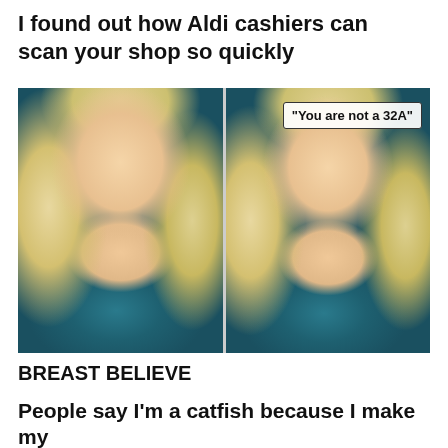I found out how Aldi cashiers can scan your shop so quickly
[Figure (photo): Two side-by-side photos of a young blonde woman in a teal bikini top. The right photo has a text overlay reading "You are not a 32A"]
BREAST BELIEVE
People say I'm a catfish because I make my